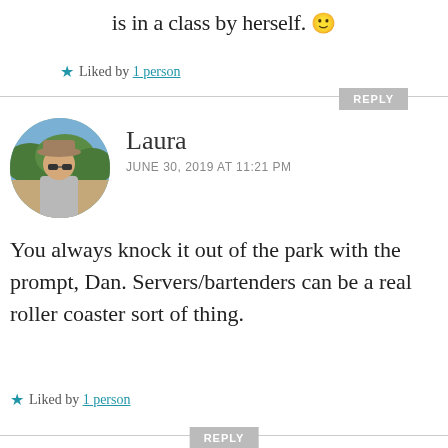is in a class by herself. 🙂
★ Liked by 1 person
REPLY
[Figure (photo): Circular avatar photo of Laura, a woman wearing sunglasses and a hat outdoors]
Laura
JUNE 30, 2019 AT 11:21 PM
You always knock it out of the park with the prompt, Dan. Servers/bartenders can be a real roller coaster sort of thing.
★ Liked by 1 person
REPLY